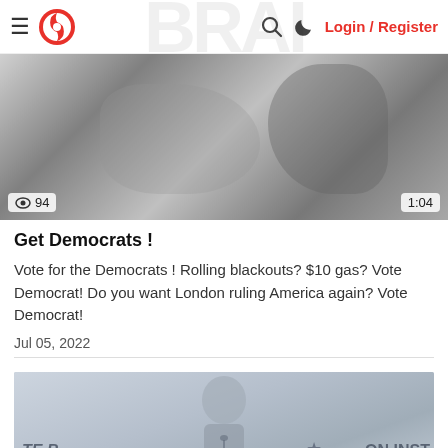Login / Register
[Figure (screenshot): Black and white video thumbnail showing a blurred figure, with view count 94 and duration 1:04]
Get Democrats !
Vote for the Democrats ! Rolling blackouts? $10 gas? Vote Democrat! Do you want London ruling America again? Vote Democrat!
Jul 05, 2022
[Figure (screenshot): Faded blue-gray video thumbnail showing a man at a podium with partial text banners reading: TE B..., licy, ON INST, or Near E]